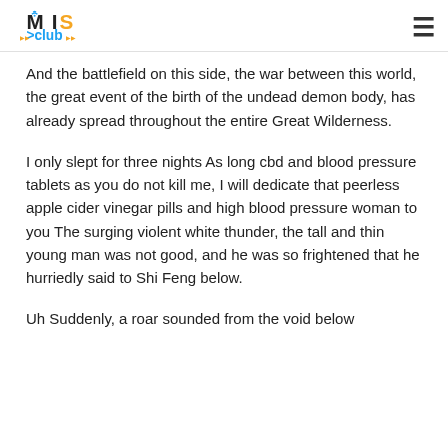MIS Club
And the battlefield on this side, the war between this world, the great event of the birth of the undead demon body, has already spread throughout the entire Great Wilderness.
I only slept for three nights As long cbd and blood pressure tablets as you do not kill me, I will dedicate that peerless apple cider vinegar pills and high blood pressure woman to you The surging violent white thunder, the tall and thin young man was not good, and he was so frightened that he hurriedly said to Shi Feng below.
Uh Suddenly, a roar sounded from the void below